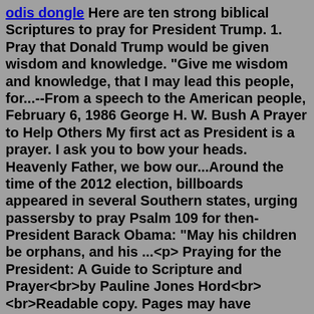odis dongle Here are ten strong biblical Scriptures to pray for President Trump. 1. Pray that Donald Trump would be given wisdom and knowledge. "Give me wisdom and knowledge, that I may lead this people, for...--From a speech to the American people, February 6, 1986 George H. W. Bush A Prayer to Help Others My first act as President is a prayer. I ask you to bow your heads. Heavenly Father, we bow our...Around the time of the 2012 election, billboards appeared in several Southern states, urging passersby to pray Psalm 109 for then-President Barack Obama: "May his children be orphans, and his ...<p> Praying for the President: A Guide to Scripture and Prayer<br>by Pauline Jones Hord<br><br>Readable copy. Pages may have considerable notes/highlighting. ~ ThriftBooks: Read More, Spend Less </p> 1 Peter 5:2-3 - Pray that our leaders will serve humbly as godly examples to all. Colossians 1:28-29 - Pray that the church will labor and strive to present everyone mature in Christ. Matthew 9:37-38 - Pray that more workers step up to faithfully serve. Ephesians 4:11-12